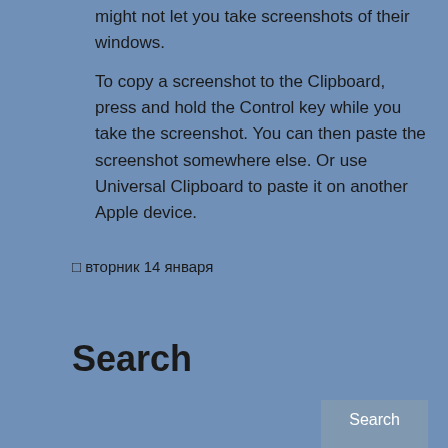might not let you take screenshots of their windows. To copy a screenshot to the Clipboard, press and hold the Control key while you take the screenshot. You can then paste the screenshot somewhere else. Or use Universal Clipboard to paste it on another Apple device.
□ вторник 14 января
Search
Search